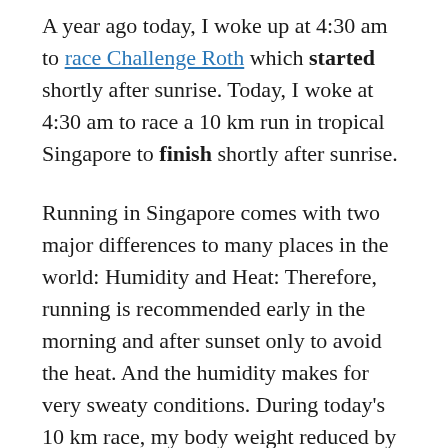A year ago today, I woke up at 4:30 am to race Challenge Roth which started shortly after sunrise. Today, I woke at 4:30 am to race a 10 km run in tropical Singapore to finish shortly after sunrise.
Running in Singapore comes with two major differences to many places in the world: Humidity and Heat: Therefore, running is recommended early in the morning and after sunset only to avoid the heat. And the humidity makes for very sweaty conditions. During today's 10 km race, my body weight reduced by 1.1 kg...
The race was very nice: It started at 6:30 am, which is still dark in Singapore. After the start